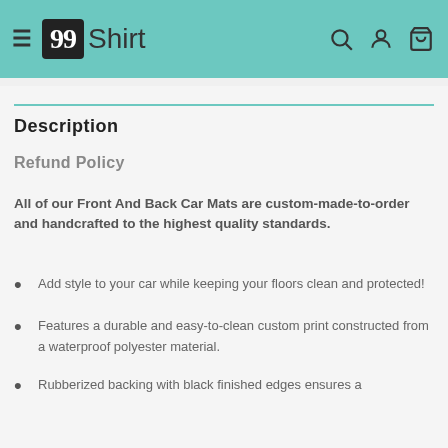99Shirt
Description
Refund Policy
All of our Front And Back Car Mats are custom-made-to-order and handcrafted to the highest quality standards.
Add style to your car while keeping your floors clean and protected!
Features a durable and easy-to-clean custom print constructed from a waterproof polyester material.
Rubberized backing with black finished edges ensures a...